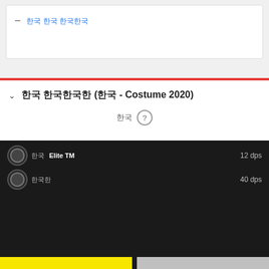– 한국 한국 한국한국
한국 한국한국한 (한국 - Costume 2020)
한국 ?
한국 Elite TM 12 dps
한국한 40 dps
We use cookies
We use cookies and other tracking technologies to improve your browsing experience on our website, to show you personalized content and targeted ads, to analyze our website traffic, and to understand where our visitors are coming from. By browsing our website, you consent to our use of cookies and other tracking technologies.
I agree
Change my preferences